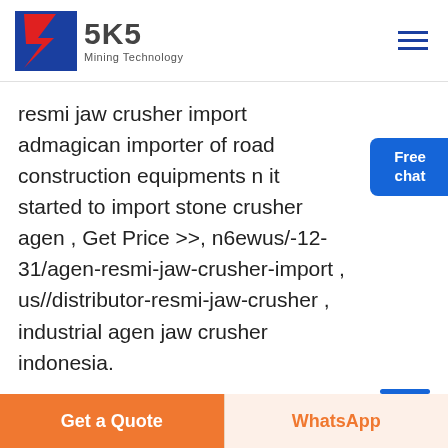[Figure (logo): SKS Mining Technology logo with stylized S graphic in red, white and blue, and text 'SKS Mining Technology']
resmi jaw crusher import admagican importer of road construction equipments n it started to import stone crusher agen , Get Price >>, n6ewus/-12-31/agen-resmi-jaw-crusher-import , us//distributor-resmi-jaw-crusher , industrial agen jaw crusher indonesia.
[Figure (other): Free chat bubble button with person avatar image, blue rounded rectangle with text 'Free chat']
Live Chat
Get a Quote
WhatsApp